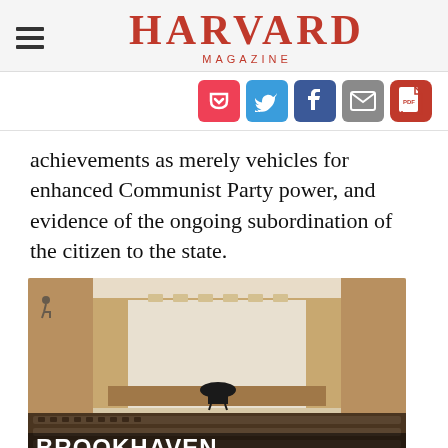HARVARD MAGAZINE
achievements as merely vehicles for enhanced Communist Party power, and evidence of the ongoing subordination of the citizen to the state.
[Figure (photo): Interior of a concert hall or auditorium with wood-paneled walls, a grand piano on stage, rows of seating, and an overlay caption reading BROOKHAVEN AT LEXINGTON]